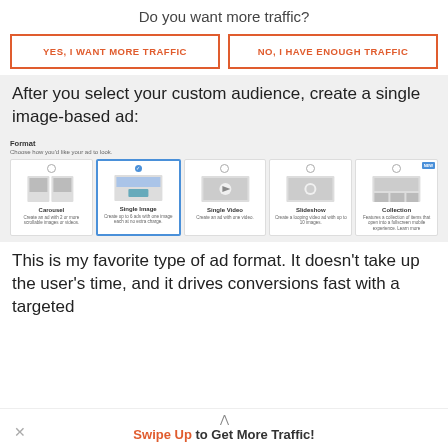Do you want more traffic?
[Figure (screenshot): Two CTA buttons: 'YES, I WANT MORE TRAFFIC' and 'NO, I HAVE ENOUGH TRAFFIC' both with orange border and text]
After you select your custom audience, create a single image-based ad:
[Figure (screenshot): Facebook ad format selector showing: Carousel, Single Image (selected with blue checkmark), Single Video, Slideshow, Collection (NEW badge). Format section with label 'Choose how you'd like your ad to look.']
This is my favorite type of ad format. It doesn't take up the user's time, and it drives conversions fast with a targeted
Swipe Up to Get More Traffic!